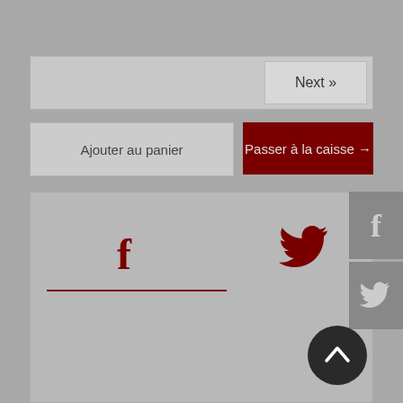Next »
Ajouter au panier
Passer à la caisse →
[Figure (screenshot): Social share panel with Facebook and Twitter icons in dark red, with an underline under the Facebook icon]
[Figure (screenshot): Right sidebar with Facebook and Twitter share buttons in grey boxes]
[Figure (screenshot): Back to top circular button with upward arrow in dark grey]